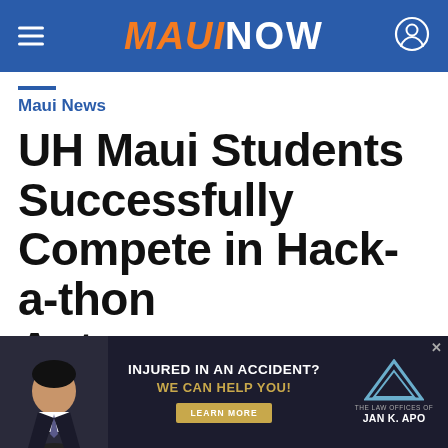MAUINOW
Maui News
UH Maui Students Successfully Compete in Hack-a-thon Autonomous Vehicle Tech Race
[Figure (infographic): Advertisement banner for Jan K. Apo Law Offices. Text reads: INJURED IN AN ACCIDENT? WE CAN HELP YOU! LEARN MORE. The Law Offices of Jan K. Apo. Shows a photo of a man in a suit.]